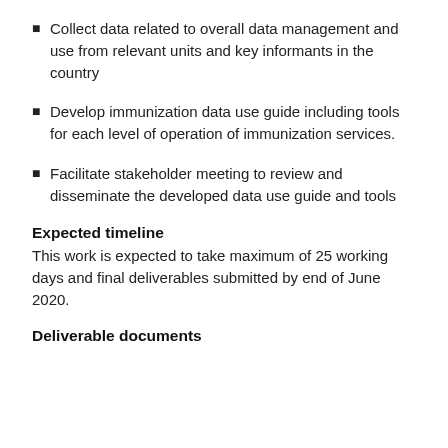Collect data related to overall data management and use from relevant units and key informants in the country
Develop immunization data use guide including tools for each level of operation of immunization services.
Facilitate stakeholder meeting to review and disseminate the developed data use guide and tools
Expected timeline
This work is expected to take maximum of 25 working days and final deliverables submitted by end of June 2020.
Deliverable documents